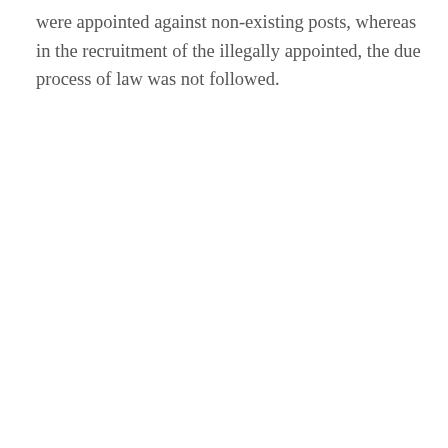were appointed against non-existing posts, whereas in the recruitment of the illegally appointed, the due process of law was not followed.